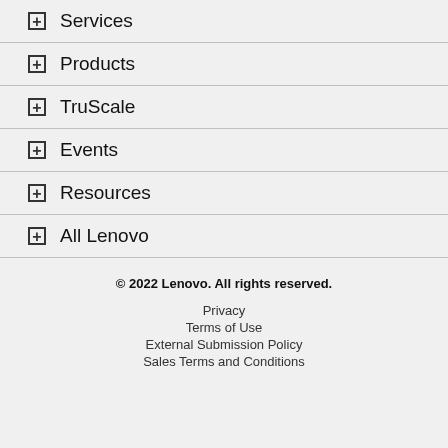+ Services
+ Products
+ TruScale
+ Events
+ Resources
+ All Lenovo
© 2022 Lenovo. All rights reserved.
Privacy
Terms of Use
External Submission Policy
Sales Terms and Conditions